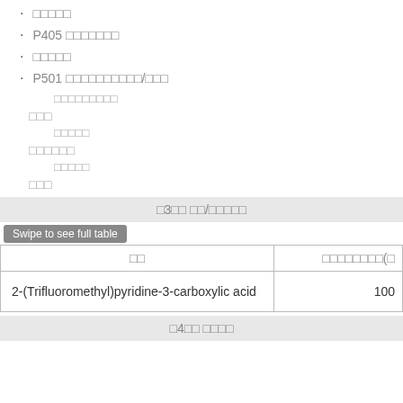□□□□□
P405 □□□□□□□
□□□□□
P501 □□□□□□□□□□/□□□
□□□□□□□□□
□□□
□□□□□
□□□□□□
□□□□□
□□□
□3□□ □□/□□□□□
| □□ | □□□□□□□□(□ |
| --- | --- |
| 2-(Trifluoromethyl)pyridine-3-carboxylic acid | 100 |
□4□□ □□□□